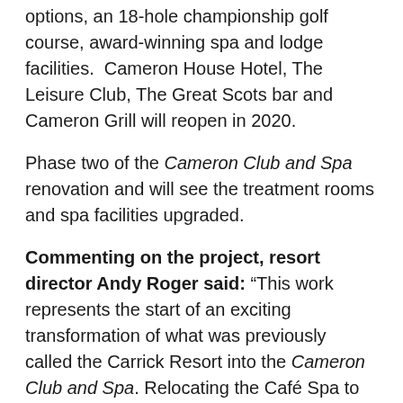options, an 18-hole championship golf course, award-winning spa and lodge facilities.  Cameron House Hotel, The Leisure Club, The Great Scots bar and Cameron Grill will reopen in 2020.
Phase two of the Cameron Club and Spa renovation and will see the treatment rooms and spa facilities upgraded.
Commenting on the project, resort director Andy Roger said: “This work represents the start of an exciting transformation of what was previously called the Carrick Resort into the Cameron Club and Spa. Relocating the Café Spa to the ground floor level has allowed us to increase capacity and transform the Spa arrival experience. All of this was completed with the utmost care to ensure any changes make the most of our stunning setting. We are excited to continue to plan the next phases of the overall project and look forward to welcome guests to the new Clubhouse and Café Spa.”
Caroline Doniol-Crai-Aidle commented: “Cool origin...